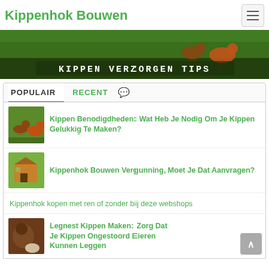Kippenhok Bouwen
[Figure (photo): Banner image with chickens on grass and text 'KIPPEN VERZORGEN TIPS']
POPULAIR | RECENT
Kippen Benodigdheden: Wat Heb Je Nodig Om Je Kippen Gelukkig Te Maken?
Kippenhok Bouwen Vergunning, Moet Je Dat Aanvragen?
Kippenhok kopen met ren of zonder bij deze webshops
Legnest Kippen Maken: Zorg Dat Je Kippen Ongestoord Eieren Kunnen Leggen